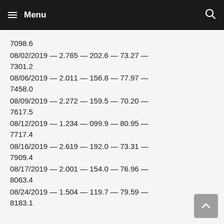Menu
7098.6
08/02/2019 — 2.765 — 202.6 — 73.27 — 7301.2
08/06/2019 — 2.011 — 156.8 — 77.97 — 7458.0
08/09/2019 — 2.272 — 159.5 — 70.20 — 7617.5
08/12/2019 — 1.234 — 099.9 — 80.95 — 7717.4
08/16/2019 — 2.619 — 192.0 — 73.31 — 7909.4
08/17/2019 — 2.001 — 154.0 — 76.96 — 8063.4
08/24/2019 — 1.504 — 119.7 — 79.59 — 8183.1